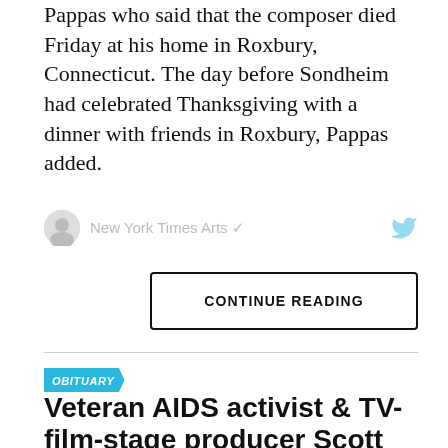Pappas who said that the composer died Friday at his home in Roxbury, Connecticut. The day before Sondheim had celebrated Thanksgiving with a dinner with friends in Roxbury, Pappas added.
[Figure (other): Twitter/social media embed showing New York Times Arts account with bird icon]
CONTINUE READING
OBITUARY
Veteran AIDS activist & TV-film-stage producer Scott Robbe dies at 66
"He was a fearless activist, always on the front lines, whether he was protesting pharmaceutical company greed or homophobia at the Oscars"